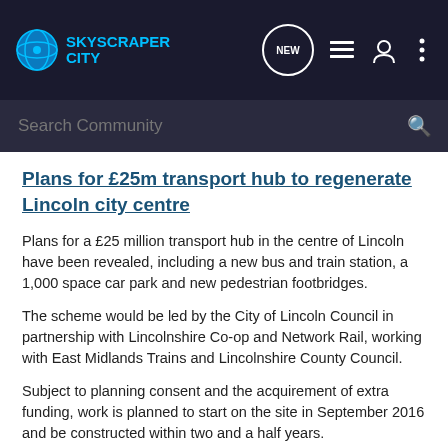SkyscraperCity
Plans for £25m transport hub to regenerate Lincoln city centre
Plans for a £25 million transport hub in the centre of Lincoln have been revealed, including a new bus and train station, a 1,000 space car park and new pedestrian footbridges.
The scheme would be led by the City of Lincoln Council in partnership with Lincolnshire Co-op and Network Rail, working with East Midlands Trains and Lincolnshire County Council.
Subject to planning consent and the acquirement of extra funding, work is planned to start on the site in September 2016 and be constructed within two and a half years.